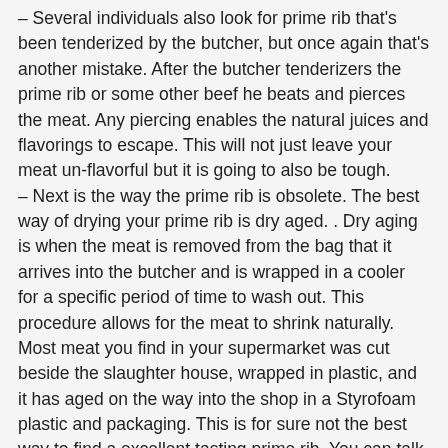– Several individuals also look for prime rib that's been tenderized by the butcher, but once again that's another mistake. After the butcher tenderizers the prime rib or some other beef he beats and pierces the meat. Any piercing enables the natural juices and flavorings to escape. This will not just leave your meat un-flavorful but it is going to also be tough. – Next is the way the prime rib is obsolete. The best way of drying your prime rib is dry aged. . Dry aging is when the meat is removed from the bag that it arrives into the butcher and is wrapped in a cooler for a specific period of time to wash out. This procedure allows for the meat to shrink naturally. Most meat you find in your supermarket was cut beside the slaughter house, wrapped in plastic, and it has aged on the way into the shop in a Styrofoam plastic and packaging. This is for sure not the best way to find a excellent tasting prime rib. You can talk to the butcher at your grocery store and inquire about the aging process used if he understands. If not and you want the very best